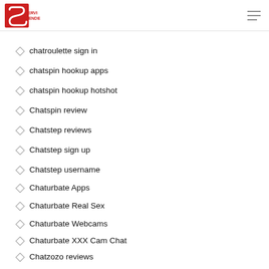SERVI ATIENDE
chatroulette login
chatroulette sign in
chatspin hookup apps
chatspin hookup hotshot
Chatspin review
Chatstep reviews
Chatstep sign up
Chatstep username
Chaturbate Apps
Chaturbate Real Sex
Chaturbate Webcams
Chaturbate XXX Cam Chat
Chatzozo reviews
Cheap Custom Essay Writing Services
cheap installment loans
cheap payday loans
check cash central